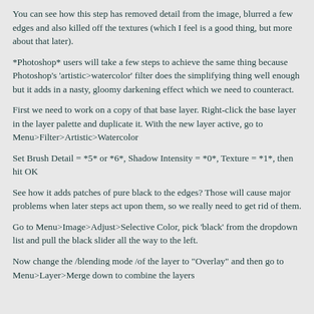You can see how this step has removed detail from the image, blurred a few edges and also killed off the textures (which I feel is a good thing, but more about that later).
*Photoshop* users will take a few steps to achieve the same thing because Photoshop's 'artistic>watercolor' filter does the simplifying thing well enough but it adds in a nasty, gloomy darkening effect which we need to counteract.
First we need to work on a copy of that base layer. Right-click the base layer in the layer palette and duplicate it. With the new layer active, go to Menu>Filter>Artistic>Watercolor
Set Brush Detail = *5* or *6*, Shadow Intensity = *0*, Texture = *1*, then hit OK
See how it adds patches of pure black to the edges? Those will cause major problems when later steps act upon them, so we really need to get rid of them.
Go to Menu>Image>Adjust>Selective Color, pick 'black' from the dropdown list and pull the black slider all the way to the left.
Now change the /blending mode /of the layer to "Overlay" and then go to Menu>Layer>Merge down to combine the layers